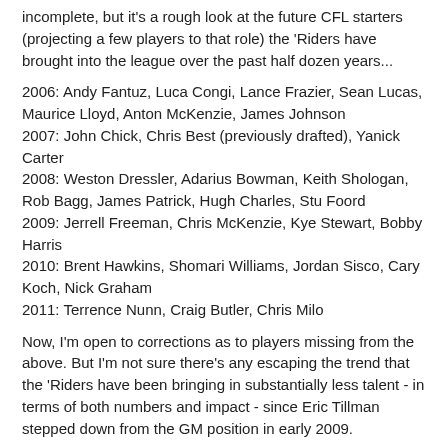incomplete, but it's a rough look at the future CFL starters (projecting a few players to that role) the 'Riders have brought into the league over the past half dozen years...
2006: Andy Fantuz, Luca Congi, Lance Frazier, Sean Lucas, Maurice Lloyd, Anton McKenzie, James Johnson
2007: John Chick, Chris Best (previously drafted), Yanick Carter
2008: Weston Dressler, Adarius Bowman, Keith Shologan, Rob Bagg, James Patrick, Hugh Charles, Stu Foord
2009: Jerrell Freeman, Chris McKenzie, Kye Stewart, Bobby Harris
2010: Brent Hawkins, Shomari Williams, Jordan Sisco, Cary Koch, Nick Graham
2011: Terrence Nunn, Craig Butler, Chris Milo
Now, I'm open to corrections as to players missing from the above. But I'm not sure there's any escaping the trend that the 'Riders have been bringing in substantially less talent - in terms of both numbers and impact - since Eric Tillman stepped down from the GM position in early 2009.